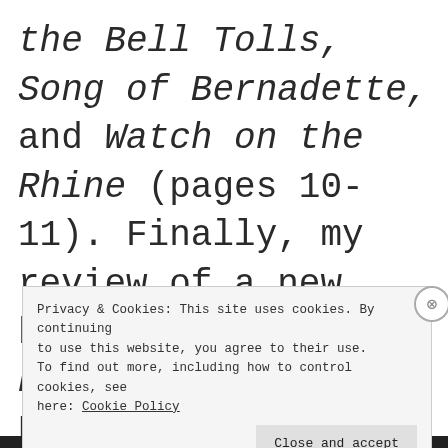the Bell Tolls, Song of Bernadette, and Watch on the Rhine (pages 10-11). Finally, my review of a new ballet, Of Love and Rage by Alexei Ratmansky
Privacy & Cookies: This site uses cookies. By continuing to use this website, you agree to their use.
To find out more, including how to control cookies, see here: Cookie Policy

Close and accept